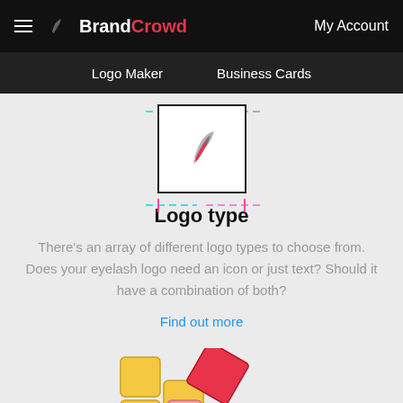BrandCrowd — My Account | Logo Maker | Business Cards
[Figure (logo): BrandCrowd logo icon (feather/flame graphic) inside a white bordered box with dashed guide lines around it]
Logo type
There's an array of different logo types to choose from. Does your eyelash logo need an icon or just text? Should it have a combination of both?
Find out more
[Figure (illustration): Colorful square/diamond tile pattern illustration in yellow, pink, red, and green at bottom of page]